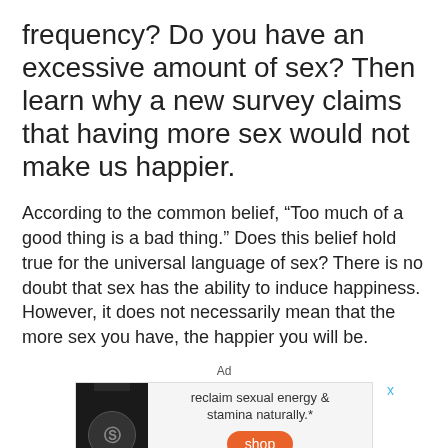frequency? Do you have an excessive amount of sex? Then learn why a new survey claims that having more sex would not make us happier.
According to the common belief, “Too much of a good thing is a bad thing.” Does this belief hold true for the universal language of sex? There is no doubt that sex has the ability to induce happiness. However, it does not necessarily mean that the more sex you have, the happier you will be.
Ad
[Figure (other): Advertisement for a supplement product showing a dark bottle, text 'reclaim sexual energy & stamina naturally.*' and an orange 'shop' button.]